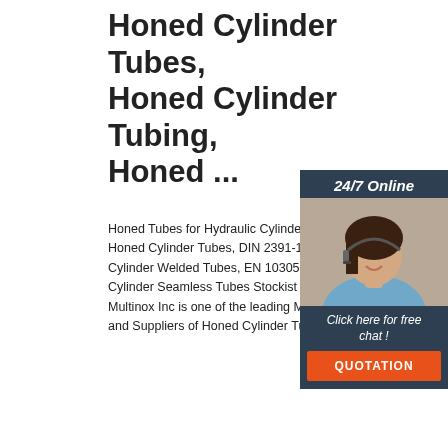Honed Cylinder Tubes, Honed Cylinder Tubing, Honed ...
Honed Tubes for Hydraulic Cylinders, ST Honed Cylinder Tubes, DIN 2391-1 Honed Cylinder Welded Tubes, EN 10305 Honed Cylinder Seamless Tubes Stockist & Wh... Multinox Inc is one of the leading Manufacturers and Suppliers of Honed Cylinder Tubes .
[Figure (photo): Customer service representative woman with headset, used in a live chat widget with '24/7 Online' header, 'Click here for free chat!' text, and 'QUOTATION' orange button]
[Figure (photo): Coils of honed steel cylinder tubing shown in the bottom section of the page, with a TOP badge/logo in the corner]